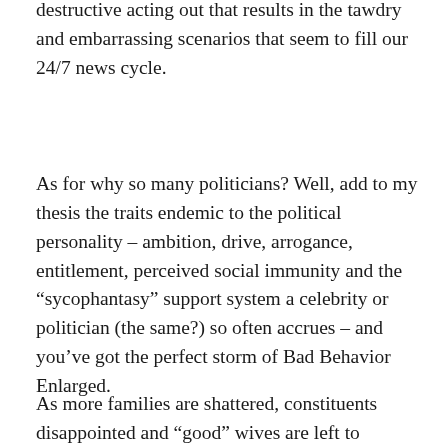destructive acting out that results in the tawdry and embarrassing scenarios that seem to fill our 24/7 news cycle.
As for why so many politicians? Well, add to my thesis the traits endemic to the political personality – ambition, drive, arrogance, entitlement, perceived social immunity and the “sycophantasy” support system a celebrity or politician (the same?) so often accrues – and you’ve got the perfect storm of Bad Behavior Enlarged.
As more families are shattered, constituents disappointed and “good” wives are left to